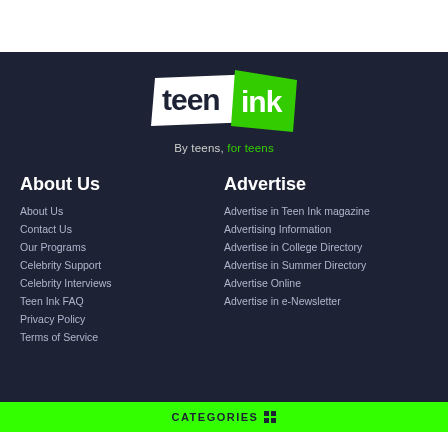[Figure (logo): Teen Ink logo - white background with 'teen' in dark navy text and green background with 'ink' in white text, stylized overlapping rectangles]
By teens, for teens
About Us
About Us
Contact Us
Our Programs
Celebrity Support
Celebrity Interviews
Teen Ink FAQ
Privacy Policy
Terms of Service
Advertise
Advertise in Teen Ink magazine
Advertising Information
Advertise in College Directory
Advertise in Summer Directory
Advertise Online
Advertise in e-Newsletter
CATEGORIES